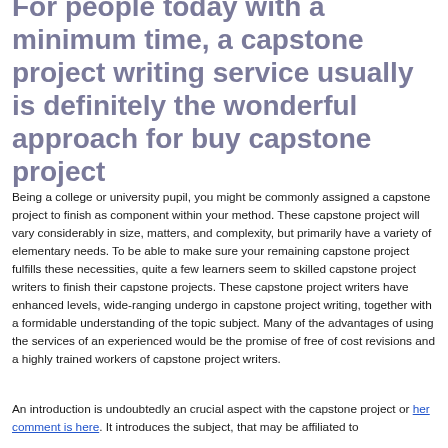For people today with a minimum time, a capstone project writing service usually is definitely the wonderful approach for buy capstone project
Being a college or university pupil, you might be commonly assigned a capstone project to finish as component within your method. These capstone project will vary considerably in size, matters, and complexity, but primarily have a variety of elementary needs. To be able to make sure your remaining capstone project fulfills these necessities, quite a few learners seem to skilled capstone project writers to finish their capstone projects. These capstone project writers have enhanced levels, wide-ranging undergo in capstone project writing, together with a formidable understanding of the topic subject. Many of the advantages of using the services of an experienced would be the promise of free of cost revisions and a highly trained workers of capstone project writers.
An introduction is undoubtedly an crucial aspect with the capstone project or her comment is here. It introduces the subject, that may be affiliated to